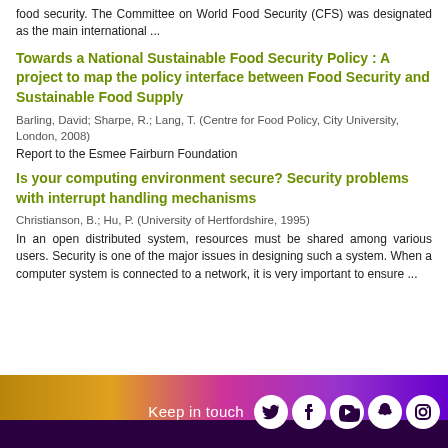food security. The Committee on World Food Security (CFS) was designated as the main international ...
Towards a National Sustainable Food Security Policy : A project to map the policy interface between Food Security and Sustainable Food Supply
Barling, David; Sharpe, R.; Lang, T. (Centre for Food Policy, City University, London, 2008)
Report to the Esmee Fairburn Foundation
Is your computing environment secure? Security problems with interrupt handling mechanisms
Christianson, B.; Hu, P. (University of Hertfordshire, 1995)
In an open distributed system, resources must be shared among various users. Security is one of the major issues in designing such a system. When a computer system is connected to a network, it is very important to ensure ...
Keep in touch